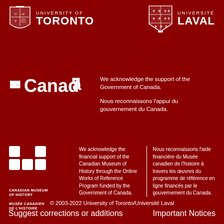[Figure (logo): University of Toronto shield crest logo with text UNIVERSITY OF TORONTO]
[Figure (logo): Université Laval shield logo with text UNIVERSITÉ LAVAL]
[Figure (logo): Government of Canada wordmark (Canadä with maple leaf flag symbol)]
We acknowledge the support of the Government of Canada.

Nous reconnaissons l'appui du gouvernement du Canada.
[Figure (logo): Canadian Museum of History logo (stylized M shape) with text CANADIAN MUSEUM OF HISTORY / MUSÉE CANADIEN DE L'HISTOIRE]
We acknowledge the financial support of the Canadian Museum of History through the Online Works of Reference Program funded by the Government of Canada.
Nous reconnaissons l'aide financière du Musée canadien de l'histoire à travers les œuvres du programme de référence en ligne financés par le gouvernement du Canada.
© 2003-2022 University of Toronto/Université Laval
Suggest corrections or additions	Important Notices